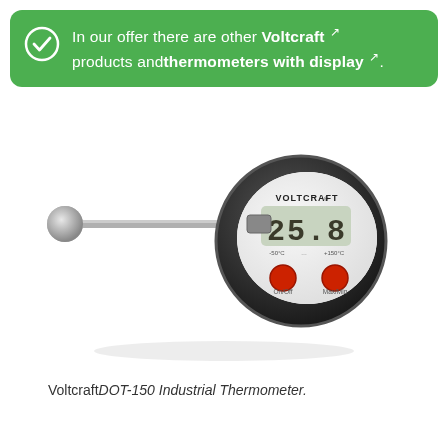In our offer there are other Voltcraft products and thermometers with display.
[Figure (photo): Voltcraft DOT-150 Industrial Thermometer with a long metal probe/needle on the left and a round black digital display unit on the right showing temperature reading, with two red buttons labeled On/Off and Max/Min.]
Voltcraft DOT-150 Industrial Thermometer.